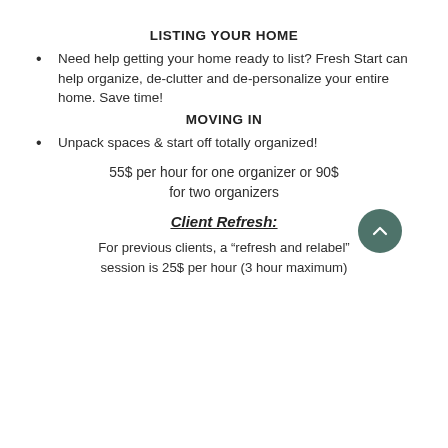LISTING YOUR HOME
Need help getting your home ready to list? Fresh Start can help organize, de-clutter and de-personalize your entire home. Save time!
MOVING IN
Unpack spaces & start off totally organized!
55$ per hour for one organizer or 90$ for two organizers
Client Refresh:
For previous clients, a “refresh and relabel” session is 25$ per hour (3 hour maximum)